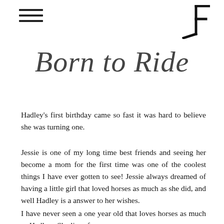Born to Ride
Hadley's first birthday came so fast it was hard to believe she was turning one.
Jessie is one of my long time best friends and seeing her become a mom for the first time was one of the coolest things I have ever gotten to see! Jessie always dreamed of having a little girl that loved horses as much as she did, and well Hadley is a answer to her wishes.
I have never seen a one year old that loves horses as much as Hadley. She lives for